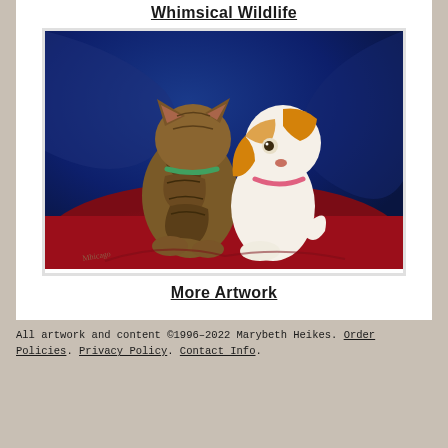Whimsical Wildlife
[Figure (illustration): Watercolor painting of a tabby cat viewed from behind sitting next to a white and orange dog both on a red surface against a dark blue background, signed by the artist]
More Artwork
All artwork and content ©1996–2022 Marybeth Heikes. Order Policies. Privacy Policy. Contact Info.